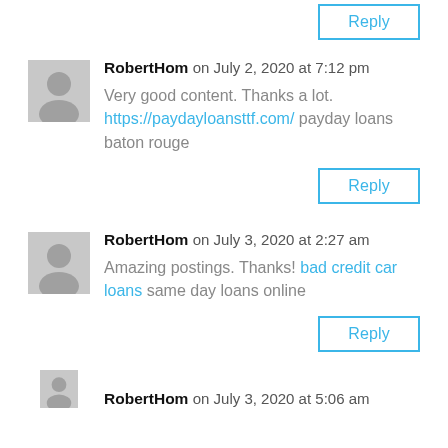Reply (top partial button)
RobertHom on July 2, 2020 at 7:12 pm
Very good content. Thanks a lot. https://paydayloansttf.com/ payday loans baton rouge
Reply
RobertHom on July 3, 2020 at 2:27 am
Amazing postings. Thanks! bad credit car loans same day loans online
Reply
RobertHom on July 3, 2020 at 5:06 am (partial)